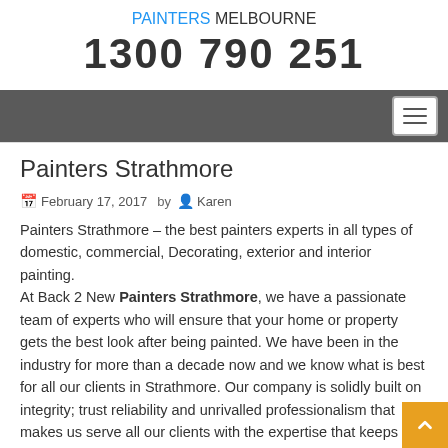PAINTERS MELBOURNE
1300 790 251
Painters Strathmore
February 17, 2017  by Karen
Painters Strathmore – the best painters experts in all types of domestic, commercial, Decorating, exterior and interior painting.
At Back 2 New Painters Strathmore, we have a passionate team of experts who will ensure that your home or property gets the best look after being painted. We have been in the industry for more than a decade now and we know what is best for all our clients in Strathmore. Our company is solidly built on integrity; trust reliability and unrivalled professionalism that makes us serve all our clients with the expertise that keeps on